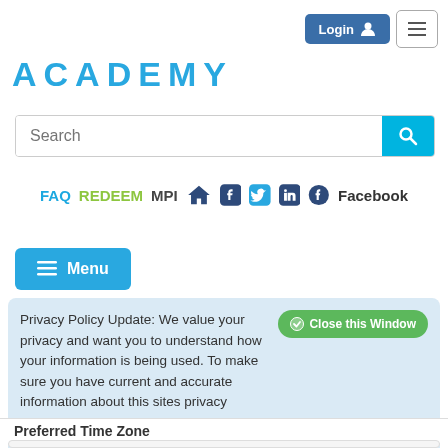Login  ☰
ACADEMY
Search
FAQ  REDEEM  MPI  🏠  [Facebook icon]  [Twitter icon]  [LinkedIn icon]  [Facebook icon]  Facebook
≡ Menu
Privacy Policy Update: We value your privacy and want you to understand how your information is being used. To make sure you have current and accurate information about this sites privacy practices please visit the privacy center by clicking here.
Preferred Time Zone